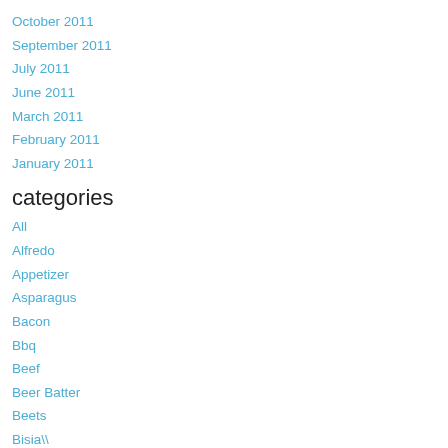October 2011
September 2011
July 2011
June 2011
March 2011
February 2011
January 2011
categories
All
Alfredo
Appetizer
Asparagus
Bacon
Bbq
Beef
Beer Batter
Beets
Bisia\
Blueberry
Boca Grande